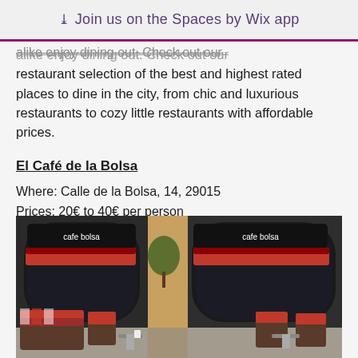Join us on the Spaces by Wix app
alike enjoy dining out. Check out our restaurant selection of the best and highest rated places to dine in the city, from chic and luxurious restaurants to cozy little restaurants with affordable prices.
El Café de la Bolsa
Where: Calle de la Bolsa, 14, 29015
Prices: 20€ to 40€ per person
Reservations: +34 952 062 002
Visit El Cafe de la Bolsa's website
[Figure (photo): Exterior of El Cafe de la Bolsa restaurant showing outdoor seating area with red cushioned chairs and sofas, yellow building facade with arched windows and black signage reading 'cafe bolsa']